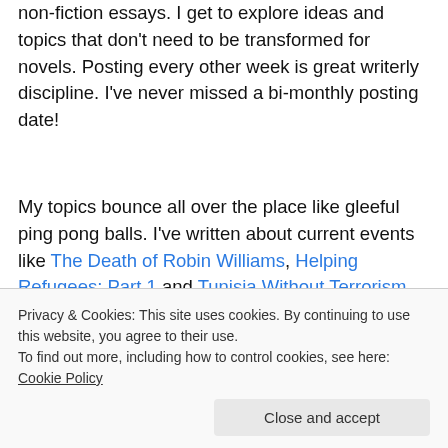non-fiction essays. I get to explore ideas and topics that don't need to be transformed for novels. Posting every other week is great writerly discipline. I've never missed a bi-monthly posting date!
My topics bounce all over the place like gleeful ping pong balls. I've written about current events like The Death of Robin Williams, Helping Refugees: Part 1 and Tunisia Without Terrorism, to the World Cup in The Year the World Came to Party.
I occasionally write about historic events, too. Several
Privacy & Cookies: This site uses cookies. By continuing to use this website, you agree to their use.
To find out more, including how to control cookies, see here: Cookie Policy